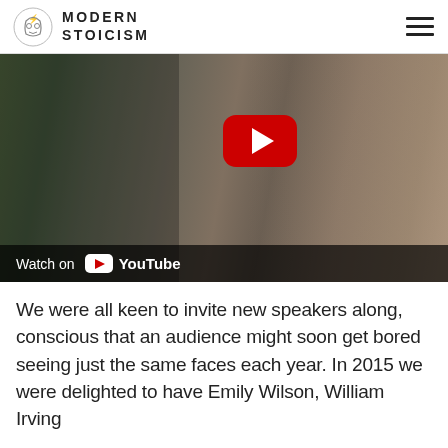MODERN STOICISM
[Figure (screenshot): A YouTube video thumbnail showing a group of people at what appears to be a conference or event, with a woman in the foreground and a red YouTube play button overlay. A 'Watch on YouTube' bar appears at the bottom.]
We were all keen to invite new speakers along, conscious that an audience might soon get bored seeing just the same faces each year. In 2015 we were delighted to have Emily Wilson, William Irving